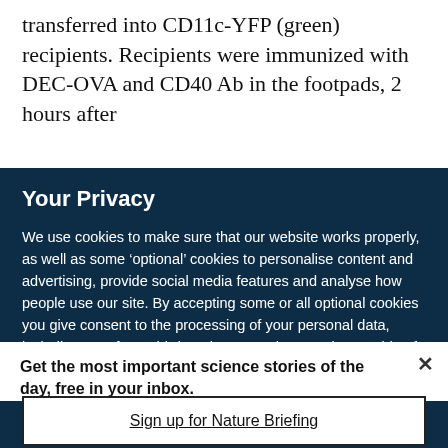transferred into CD11c-YFP (green) recipients. Recipients were immunized with DEC-OVA and CD40 Ab in the footpads, 2 hours after
Your Privacy
We use cookies to make sure that our website works properly, as well as some ‘optional’ cookies to personalise content and advertising, provide social media features and analyse how people use our site. By accepting some or all optional cookies you give consent to the processing of your personal data, including transfer to third parties, some in countries outside of the European Economic Area that do not offer the same data protection standards as the country where you live. You can decide which optional cookies to accept by clicking on ‘Manage Settings’, where you can
Get the most important science stories of the day, free in your inbox.
Sign up for Nature Briefing